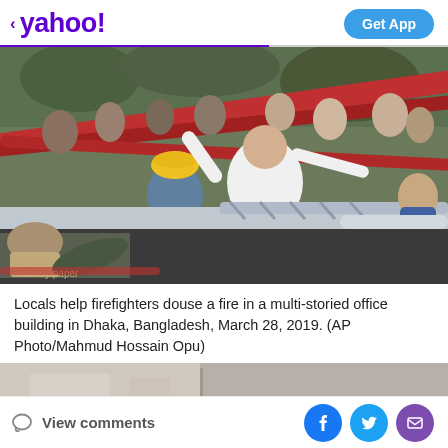< yahoo!  Get App
[Figure (photo): People including a firefighter in a yellow hard hat and a man in a white shirt help carry fire hoses on a ladder truck during a fire in a multi-storied office building in Dhaka, Bangladesh, March 28, 2019.]
Locals help firefighters douse a fire in a multi-storied office building in Dhaka, Bangladesh, March 28, 2019. (AP Photo/Mahmud Hossain Opu)
[Figure (photo): Partial second photo visible at bottom of screen, appears to show interior of building.]
View comments